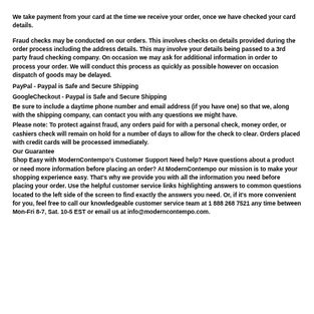We take payment from your card at the time we receive your order, once we have checked your card details.
Fraud checks may be conducted on our orders. This involves checks on details provided during the order process including the address details. This may involve your details being passed to a 3rd party fraud checking company. On occasion we may ask for additional information in order to process your order. We will conduct this process as quickly as possible however on occasion dispatch of goods may be delayed.
PayPal - Paypal is Safe and Secure Shipping
GoogleCheckout - Paypal is Safe and Secure Shipping
Be sure to include a daytime phone number and email address (if you have one) so that we, along with the shipping company, can contact you with any questions we might have.
Please note: To protect against fraud, any orders paid for with a personal check, money order, or cashiers check will remain on hold for a number of days to allow for the check to clear. Orders placed with credit cards will be processed immediately.
Our Guarantee
Shop Easy with ModernContempo's Customer Support Need help? Have questions about a product or need more information before placing an order? At ModernContempo our mission is to make your shopping experience easy. That's why we provide you with all the information you need before placing your order. Use the helpful customer service links highlighting answers to common questions located to the left side of the screen to find exactly the answers you need. Or, if it's more convenient for you, feel free to call our knowledgeable customer service team at 1 888 268 7521 any time between Mon-Fri 8-7, Sat. 10-5 EST or email us at info@moderncontempo.com.